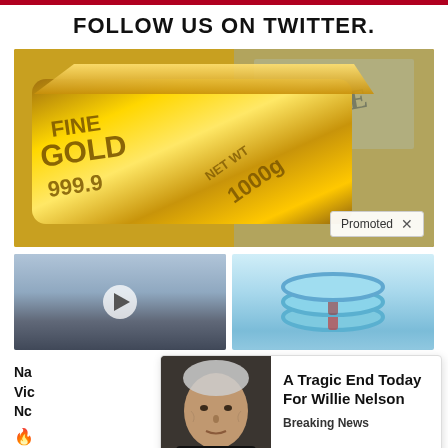FOLLOW US ON TWITTER.
[Figure (photo): Gold bar labeled FINE GOLD 999.9 1000g resting on US dollar bills with a Promoted badge in the bottom-right corner]
[Figure (photo): Video thumbnail showing Kamala Harris with a play button overlay]
[Figure (photo): Blue stacked bracelet/hair tie product photo]
Na...
Vic...
Nc...
[Figure (infographic): Popup card showing Willie Nelson photo with headline 'A Tragic End Today For Willie Nelson' and subheading 'Breaking News']